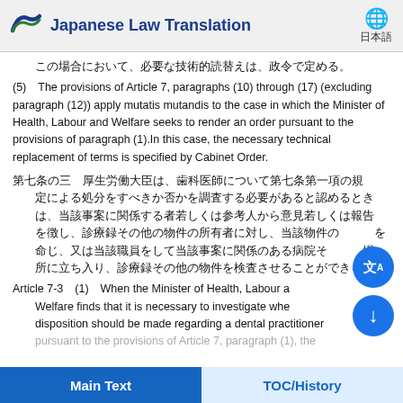Japanese Law Translation
この場合において、必要な技術的読替えは、政令で定める。
(5)　The provisions of Article 7, paragraphs (10) through (17) (excluding paragraph (12)) apply mutatis mutandis to the case in which the Minister of Health, Labour and Welfare seeks to render an order pursuant to the provisions of paragraph (1).In this case, the necessary technical replacement of terms is specified by Cabinet Order.
第七条の三　厚生労働大臣は、歯科医師について第七条第一項の規定による処分をすべきか否かを調査する必要があると認めるときは、当該事案に関係する者若しくは参考人から意見若しくは報告を徴し、診療録その他の物件の所有者に対し、当該物件の提出を命じ、又は当該職員をして当該事案に関係のある病院その他の場所に立ち入り、診療録その他の物件を検査させることができる。
Article 7-3　(1)　When the Minister of Health, Labour and Welfare finds that it is necessary to investigate whether a disposition should be made regarding a dental practitioner pursuant to the provisions of Article 7, paragraph (1), the
Main Text　TOC/History